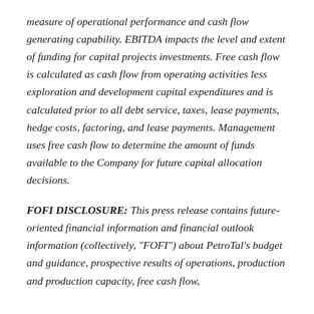measure of operational performance and cash flow generating capability. EBITDA impacts the level and extent of funding for capital projects investments. Free cash flow is calculated as cash flow from operating activities less exploration and development capital expenditures and is calculated prior to all debt service, taxes, lease payments, hedge costs, factoring, and lease payments. Management uses free cash flow to determine the amount of funds available to the Company for future capital allocation decisions.
FOFI DISCLOSURE: This press release contains future-oriented financial information and financial outlook information (collectively, "FOFI") about PetroTal's budget and guidance, prospective results of operations, production and production capacity, free cash flow,